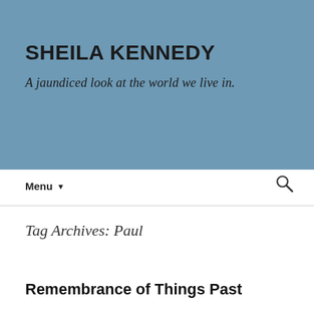SHEILA KENNEDY
A jaundiced look at the world we live in.
Menu ▾
Tag Archives: Paul
Remembrance of Things Past